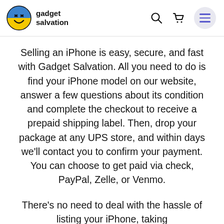gadget salvation
Selling an iPhone is easy, secure, and fast with Gadget Salvation. All you need to do is find your iPhone model on our website, answer a few questions about its condition and complete the checkout to receive a prepaid shipping label. Then, drop your package at any UPS store, and within days we'll contact you to confirm your payment. You can choose to get paid via check, PayPal, Zelle, or Venmo.
There's no need to deal with the hassle of listing your iPhone, taking